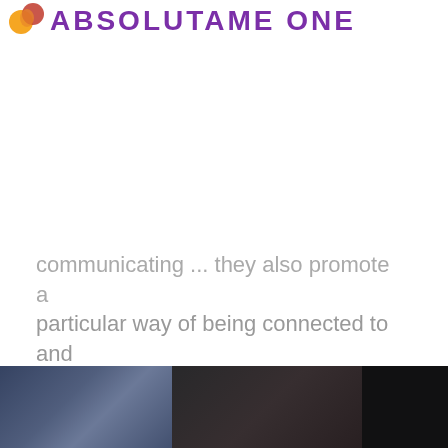ABSOLUTAME ONE
communicating ... they also promote a particular way of being connected to and supportive of those around us. These interactions are channeled through the platform to create data. ...
[Figure (photo): A dark photo strip showing people in an indoor setting, split into three segments]